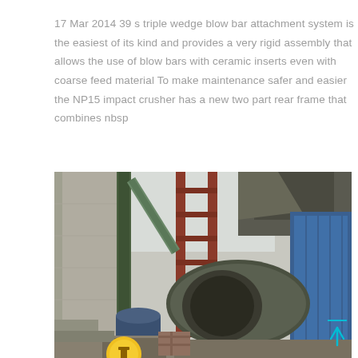17 Mar 2014 39 s triple wedge blow bar attachment system is the easiest of its kind and provides a very rigid assembly that allows the use of blow bars with ceramic inserts even with coarse feed material To make maintenance safer and easier the NP15 impact crusher has a new two part rear frame that combines nbsp
[Figure (photo): Photograph of an industrial impact crusher machine in an outdoor or semi-outdoor industrial facility, showing metal framework, a ladder, blue corrugated metal fencing, and heavy machinery components including what appears to be a crusher rotor assembly.]